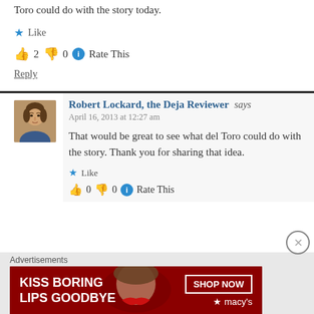Toro could do with the story today.
★ Like
👍 2  👎 0  ℹ Rate This
Reply
[Figure (photo): Avatar photo of Robert Lockard, a man in his 30s with short dark hair, wearing a collared shirt, smiling slightly.]
Robert Lockard, the Deja Reviewer says
April 16, 2013 at 12:27 am
That would be great to see what del Toro could do with the story. Thank you for sharing that idea.
★ Like
👍 0  👎 0  ℹ Rate This
Advertisements
[Figure (infographic): Macy's advertisement banner with dark red background showing a woman's face with red lips. Text reads 'KISS BORING LIPS GOODBYE' with 'SHOP NOW' button and Macy's star logo.]